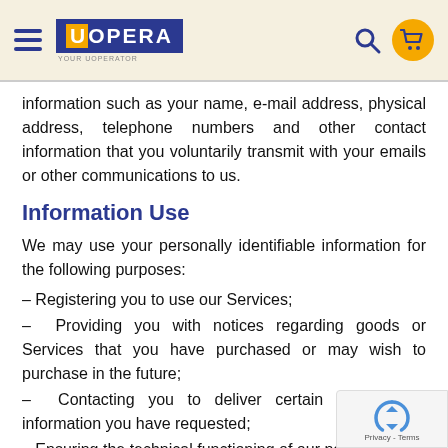UOpera navigation header with logo, search and cart icons
information such as your name, e-mail address, physical address, telephone numbers and other contact information that you voluntarily transmit with your emails or other communications to us.
Information Use
We may use your personally identifiable information for the following purposes:
- Registering you to use our Services;
- Providing you with notices regarding goods or Services that you have purchased or may wish to purchase in the future;
- Contacting you to deliver certain Services or information you have requested;
- Ensuring the technical functioning of our network;
- Protecting your account from unauthorized access and verifying your authority to enter the Site;
- Developing new services and improving the content and general administration of the Site and our